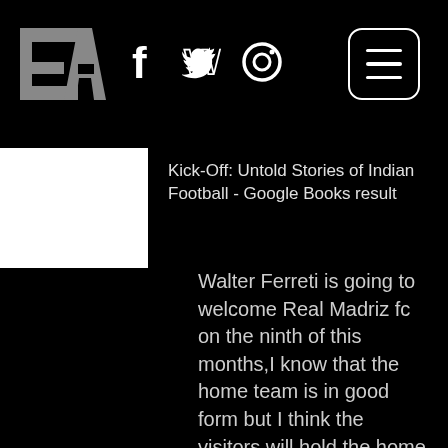[Figure (logo): EA logo in white on black background]
[Figure (infographic): Social media icons: Facebook (f), Twitter (bird), Instagram (camera circle)]
[Figure (other): Hamburger menu button, white lines in rounded square border]
Kick-Off: Untold Stories of Indian Football - Google Books result
Walter Ferreti is going to welcome Real Madriz fc on the ninth of this months,I know that the home team is in good form but I think the visitors will hold the home team so that they will shared the spoil. The hosting team have won their last home game while the visitors lost to Deportivo Las Sabanas by two goals to one. The guest is coming to this game thinking that they are going to heal their wound after they have suffered their last game. To compare the performance of these teams I see that they look to be even so draw is the best